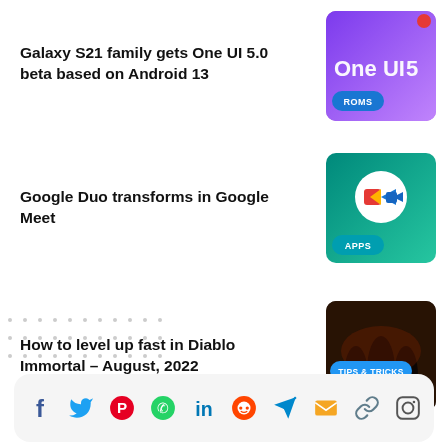Galaxy S21 family gets One UI 5.0 beta based on Android 13
[Figure (screenshot): Thumbnail with purple gradient background showing 'One UI 5' text and ROMS badge]
Google Duo transforms in Google Meet
[Figure (screenshot): Thumbnail with teal background showing Google Meet logo icon and APPS badge]
How to level up fast in Diablo Immortal – August, 2022
[Figure (screenshot): Thumbnail with dark game screenshot showing TIPS & TRICKS and APPS badges]
[Figure (other): Social sharing bar with Facebook, Twitter, Pinterest, WhatsApp, LinkedIn, Reddit, Telegram, Email, Link, Instagram icons]